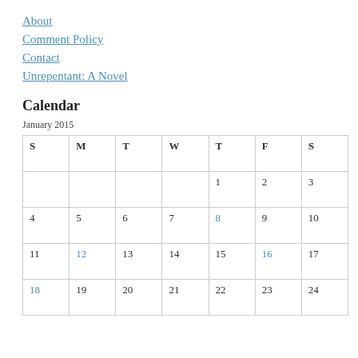About
Comment Policy
Contact
Unrepentant: A Novel
Calendar
January 2015
| S | M | T | W | T | F | S |
| --- | --- | --- | --- | --- | --- | --- |
|  |  |  |  | 1 | 2 | 3 |
| 4 | 5 | 6 | 7 | 8 | 9 | 10 |
| 11 | 12 | 13 | 14 | 15 | 16 | 17 |
| 18 | 19 | 20 | 21 | 22 | 23 | 24 |